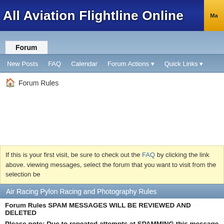All Aviation Flightline Online
Forum
New Posts  FAQ  Calendar  Forum Actions  Quick Links
🏠 Forum Rules
If this is your first visit, be sure to check out the FAQ by clicking the link above. viewing messages, select the forum that you want to visit from the selection be
Air Racing Pylon Racing and Photography Rules
Forum Rules SPAM MESSAGES WILL BE REVIEWED AND DELETED
Please note: Due to repeated attempts at SPAMMING this message board. SPAMMERS NEED NOT APPLY!
Additionally, note that we insist on your using your real name in your app be used for any purpose other than helping us know that you are a real p
All new memberships will be reviewed prior to your messages being